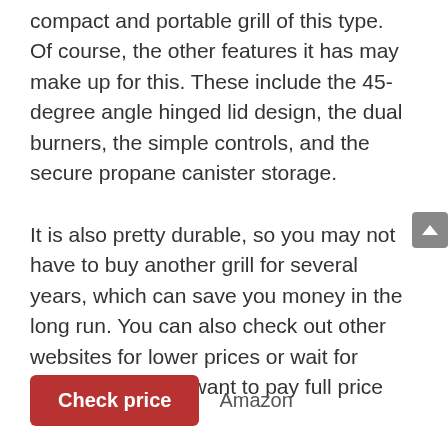compact and portable grill of this type. Of course, the other features it has may make up for this. These include the 45-degree angle hinged lid design, the dual burners, the simple controls, and the secure propane canister storage.
It is also pretty durable, so you may not have to buy another grill for several years, which can save you money in the long run. You can also check out other websites for lower prices or wait for sales if you don't want to pay full price for this model.
Check price   Amazon